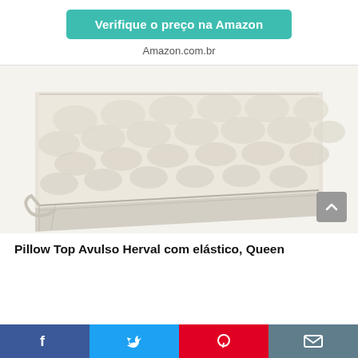Verifique o preço na Amazon
Amazon.com.br
[Figure (photo): Close-up photo of a quilted mattress topper (Pillow Top Avulso) with a cream/beige fabric, showing the padded surface and side handle strap, with a zipper edge visible.]
Pillow Top Avulso Herval com elástico, Queen